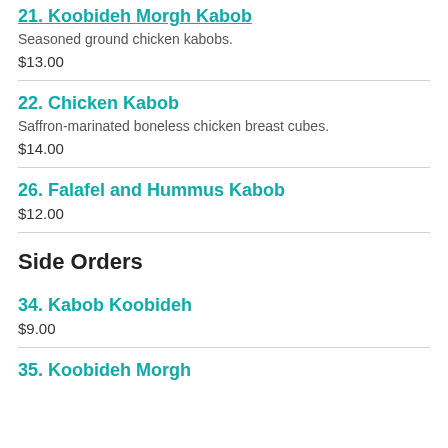21. Koobideh Morgh Kabob
Seasoned ground chicken kabobs.
$13.00
22. Chicken Kabob
Saffron-marinated boneless chicken breast cubes.
$14.00
26. Falafel and Hummus Kabob
$12.00
Side Orders
34. Kabob Koobideh
$9.00
35. Koobideh Morgh